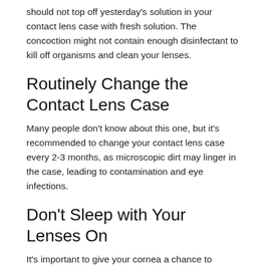should not top off yesterday's solution in your contact lens case with fresh solution. The concoction might not contain enough disinfectant to kill off organisms and clean your lenses.
Routinely Change the Contact Lens Case
Many people don't know about this one, but it's recommended to change your contact lens case every 2-3 months, as microscopic dirt may linger in the case, leading to contamination and eye infections.
Don't Sleep with Your Lenses On
It's important to give your cornea a chance to breathe; sleeping with your contacts may cause redness, soreness and infections. So make sure to remove your contact lenses before you get some shut-eye, unless they're specialty lenses which are intended to be worn overnight.
If you're using orthokeratology (ortho-k) lenses to reshape your cornea, do wear them at night or as instructed by your